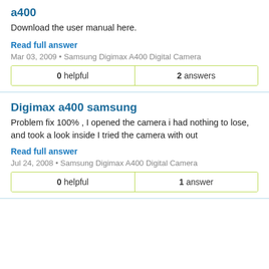a400
Download the user manual here.
Read full answer
Mar 03, 2009 • Samsung Digimax A400 Digital Camera
| 0 helpful | 2 answers |
Digimax a400 samsung
Problem fix 100% , I opened the camera i had nothing to lose, and took a look inside I tried the camera with out
Read full answer
Jul 24, 2008 • Samsung Digimax A400 Digital Camera
| 0 helpful | 1 answer |